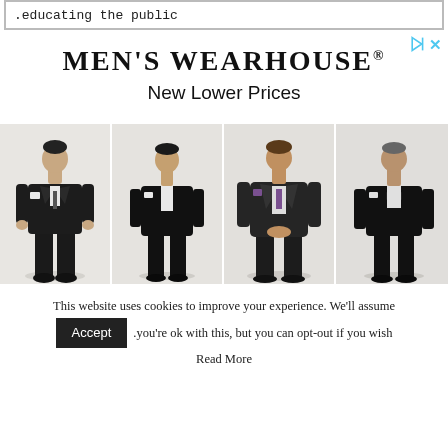.educating the public
[Figure (illustration): Men's Wearhouse advertisement showing brand name 'MEN'S WEARHOUSE®' with tagline 'New Lower Prices' and four male models wearing black suits/tuxedos]
This website uses cookies to improve your experience. We'll assume you're ok with this, but you can opt-out if you wish
Read More